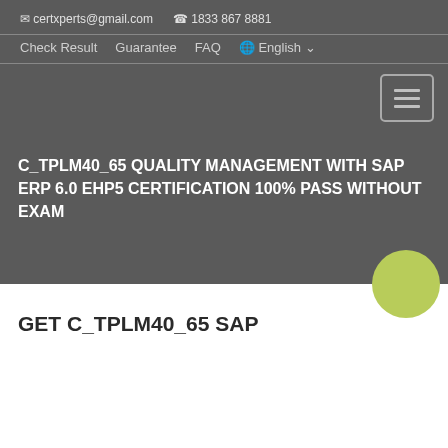✉ certxperts@gmail.com  ✆ 1833 867 8881
Check Result  Guarantee  FAQ  🌐 English ∨
[Figure (other): Hamburger menu button icon with three horizontal lines]
C_TPLM40_65 QUALITY MANAGEMENT WITH SAP ERP 6.0 EHP5 CERTIFICATION 100% PASS WITHOUT EXAM
[Figure (other): Green circle decorative element]
GET C_TPLM40_65 SAP